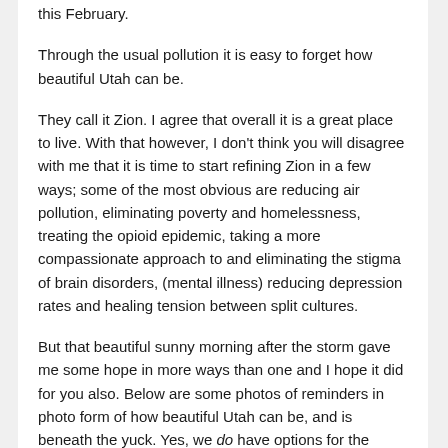this February.
Through the usual pollution it is easy to forget how beautiful Utah can be.
They call it Zion. I agree that overall it is a great place to live. With that however, I don't think you will disagree with me that it is time to start refining Zion in a few ways; some of the most obvious are reducing air pollution, eliminating poverty and homelessness, treating the opioid epidemic, taking a more compassionate approach to and eliminating the stigma of brain disorders, (mental illness) reducing depression rates and healing tension between split cultures.
But that beautiful sunny morning after the storm gave me some hope in more ways than one and I hope it did for you also. Below are some photos of reminders in photo form of how beautiful Utah can be, and is beneath the yuck. Yes, we do have options for the above issues. Everyone from senators to every citizen have a responsibility...